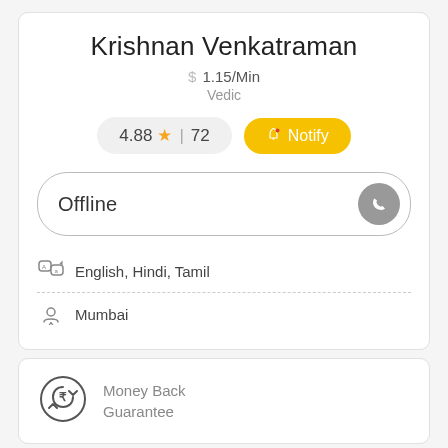Krishnan Venkatraman
$ 1.15/Min
Vedic
4.88★ | 72
Notify
Offline
English, Hindi, Tamil
Mumbai
Money Back Guarantee